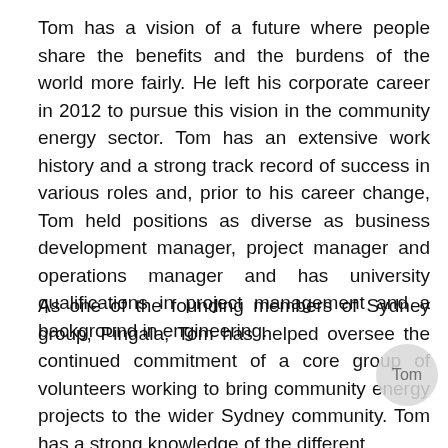Tom has a vision of a future where people share the benefits and the burdens of the world more fairly. He left his corporate career in 2012 to pursue this vision in the community energy sector. Tom has an extensive work history and a strong track record of success in various roles and, prior to his career change, Tom held positions as diverse as business development manager, project manager and operations manager and has university qualifications in project management and a background in engineering.
As one of the founding members of Sydney group, Pingala, Tom has helped oversee the continued commitment of a core group of volunteers working to bring community energy projects to the wider Sydney community. Tom has a strong knowledge of the different